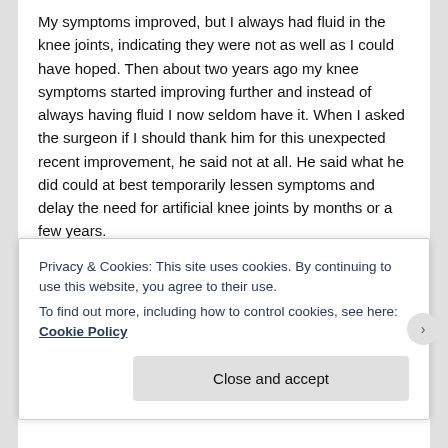My symptoms improved, but I always had fluid in the knee joints, indicating they were not as well as I could have hoped. Then about two years ago my knee symptoms started improving further and instead of always having fluid I now seldom have it. When I asked the surgeon if I should thank him for this unexpected recent improvement, he said not at all. He said what he did could at best temporarily lessen symptoms and delay the need for artificial knee joints by months or a few years.
What, then, might have caused the change? One of my farm activities is raising chickens on pasture, processing, and direct- marketing them. For years we gave away the chicken feet for free, but two years ago we began making
Privacy & Cookies: This site uses cookies. By continuing to use this website, you agree to their use.
To find out more, including how to control cookies, see here: Cookie Policy